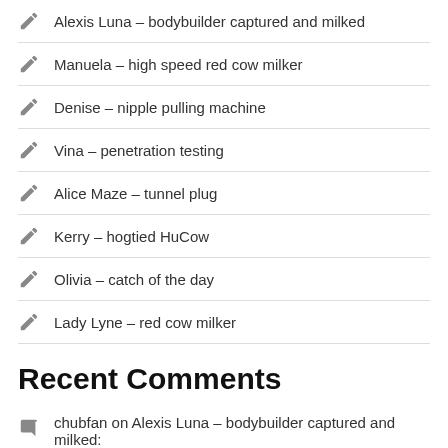Alexis Luna – bodybuilder captured and milked
Manuela – high speed red cow milker
Denise – nipple pulling machine
Vina – penetration testing
Alice Maze – tunnel plug
Kerry – hogtied HuCow
Olivia – catch of the day
Lady Lyne – red cow milker
Recent Comments
chubfan on Alexis Luna – bodybuilder captured and milked:
“ehrlich gesagt kann ich mir nicht vorstellen, dass sich ihre Zitzen und Euter vergrößern werden und dass sie eine